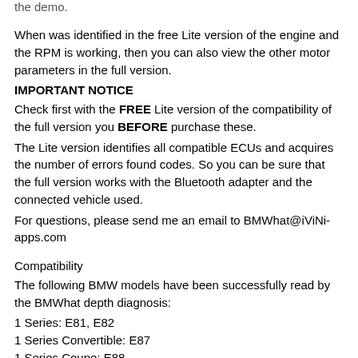the demo.
When was identified in the free Lite version of the engine and the RPM is working, then you can also view the other motor parameters in the full version.
IMPORTANT NOTICE
Check first with the FREE Lite version of the compatibility of the full version you BEFORE purchase these.
The Lite version identifies all compatible ECUs and acquires the number of errors found codes. So you can be sure that the full version works with the Bluetooth adapter and the connected vehicle used.
For questions, please send me an email to BMWhat@iViNi-apps.com
Compatibility
The following BMW models have been successfully read by the BMWhat depth diagnosis:
1 Series: E81, E82
1 Series Convertible: E87
1 Series Coupe: E88
3 Series: E90
3 Series Touring: E91